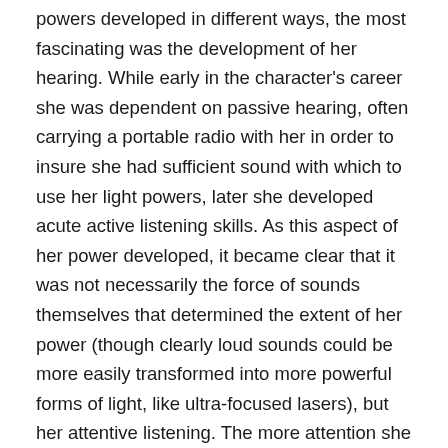powers developed in different ways, the most fascinating was the development of her hearing. While early in the character's career she was dependent on passive hearing, often carrying a portable radio with her in order to insure she had sufficient sound with which to use her light powers, later she developed acute active listening skills. As this aspect of her power developed, it became clear that it was not necessarily the force of sounds themselves that determined the extent of her power (though clearly loud sounds could be more easily transformed into more powerful forms of light, like ultra-focused lasers), but her attentive listening. The more attention she could pay to sounds and could discern even faint sounds, the more she could absorb and transform—later she is even able to use the sounds of digging insects and worms to save herself when she is accidentally buried alive.